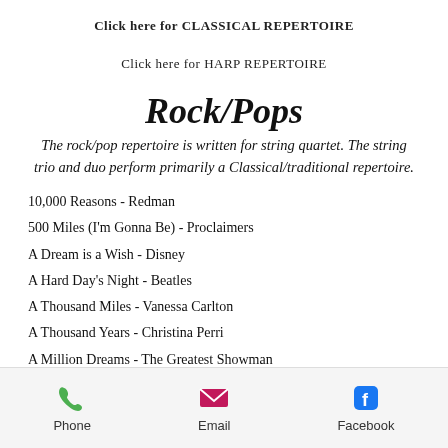Click here for CLASSICAL REPERTOIRE
Click here for HARP REPERTOIRE
Rock/Pops
The rock/pop repertoire is written for string quartet. The string trio and duo perform primarily a Classical/traditional repertoire.
10,000 Reasons - Redman
500 Miles (I'm Gonna Be) - Proclaimers
A Dream is a Wish - Disney
A Hard Day's Night - Beatles
A Thousand Miles - Vanessa Carlton
A Thousand Years - Christina Perri
A Million Dreams - The Greatest Showman
Phone   Email   Facebook